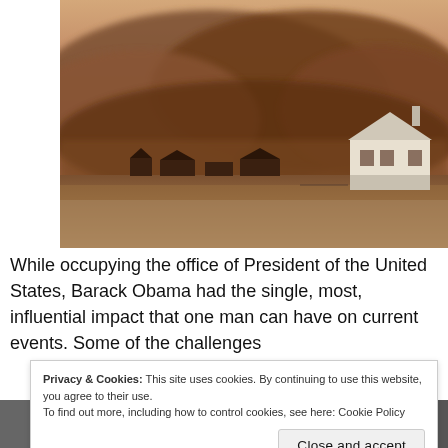[Figure (photo): Historic sepia-toned photograph of a massive dust storm (haboob) rolling over a flat rural landscape with farmhouses and buildings silhouetted in the foreground against an enormous wall of dark dust clouds filling the sky.]
While occupying the office of President of the United States, Barack Obama had the single, most, influential impact that one man can have on current events. Some of the challenges
Privacy & Cookies: This site uses cookies. By continuing to use this website, you agree to their use.
To find out more, including how to control cookies, see here: Cookie Policy
Close and accept
[Figure (photo): Two thumbnail images at the bottom of the page showing partial faces/portraits of two individuals.]